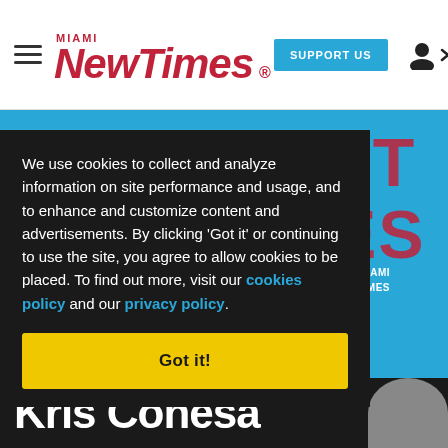Miami New Times — SUPPORT US
We use cookies to collect and analyze information on site performance and usage, and to enhance and customize content and advertisements. By clicking 'Got it' or continuing to use the site, you agree to allow cookies to be placed. To find out more, visit our cookies policy and our privacy policy.
Got it!
Kris Conesa